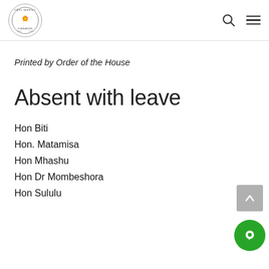Parliament of Zimbabwe header with logo, search icon, and menu icon
Printed by Order of the House
Absent with leave
Hon Biti
Hon. Matamisa
Hon Mhashu
Hon Dr Mombeshora
Hon Sululu